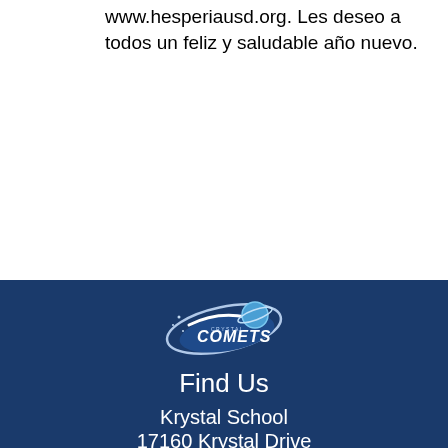www.hesperiausd.org. Les deseo a todos un feliz y saludable año nuevo.
[Figure (logo): Crystal Comets school mascot logo — a comet swoosh with planet and the word Comets in stylized font]
Find Us
Krystal School
17160 Krystal Drive